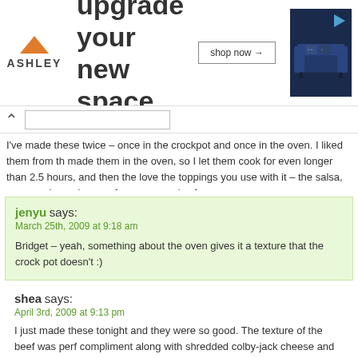[Figure (photo): Ashley Furniture advertisement banner: orange triangle logo, 'ASHLEY' brand text, large text 'upgrade your new space', 'shop now →' button, image of a dark blue sofa with decorative pillows, play button icon in corner]
I've made these twice – once in the crockpot and once in the oven. I liked them from th... made them in the oven, so I let them cook for even longer than 2.5 hours, and then the... love the toppings you use with it – the salsa, guacamole, and queso fresco are a nice fr...
jenyu says:
March 25th, 2009 at 9:18 am

Bridget – yeah, something about the oven gives it a texture that the crock pot doesn't :)
shea says:
April 3rd, 2009 at 9:13 pm

I just made these tonight and they were so good. The texture of the beef was perf... compliment along with shredded colby-jack cheese and sour cream. Thanks!! I would ha...
jenyu says:
April 4th, 2009 at 9:42 pm

Shea – awesome! I love this recipe too. Glad that you enjoyed it. Shredded beef tacos b...